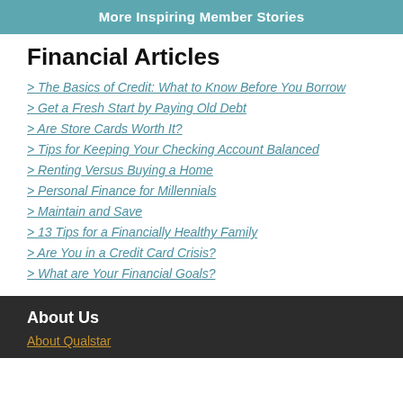More Inspiring Member Stories
Financial Articles
> The Basics of Credit: What to Know Before You Borrow
> Get a Fresh Start by Paying Old Debt
> Are Store Cards Worth It?
> Tips for Keeping Your Checking Account Balanced
> Renting Versus Buying a Home
> Personal Finance for Millennials
> Maintain and Save
> 13 Tips for a Financially Healthy Family
> Are You in a Credit Card Crisis?
> What are Your Financial Goals?
About Us
About Qualstar